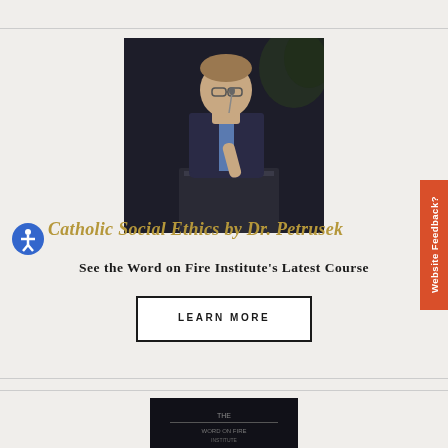[Figure (photo): Photo of Dr. Petrusek speaking at a podium, wearing a dark blazer and blue shirt, dark background]
Catholic Social Ethics by Dr. Petrusek
See the Word on Fire Institute's Latest Course
[Figure (screenshot): Partially visible book cover at the bottom of the page]